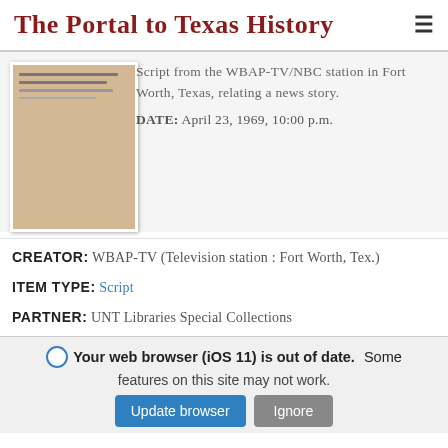The Portal to Texas History
[Figure (photo): Thumbnail image of a document page with handwritten or typed lines on beige/tan paper]
Script from the WBAP-TV/NBC station in Fort Worth, Texas, relating a news story.
DATE: April 23, 1969, 10:00 p.m.
CREATOR: WBAP-TV (Television station : Fort Worth, Tex.)
ITEM TYPE: Script
PARTNER: UNT Libraries Special Collections
Your web browser (iOS 11) is out of date. Some features on this site may not work.
Update browser
Ignore